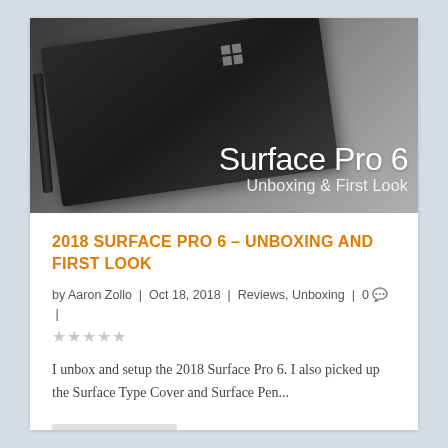[Figure (photo): Surface Pro 6 unboxing hero image showing a dark black Surface Pro 6 tablet device from above at an angle, with a Surface Pen visible on the left. Overlaid text reads 'Surface Pro 6' and 'Unboxing & First Look' on a gradient background.]
2018 SURFACE PRO 6 – UNBOXING AND FIRST LOOK
by Aaron Zollo  |  Oct 18, 2018  |  Reviews, Unboxing  |  0 💬  |
★★★★★ (empty stars rating)
I unbox and setup the 2018 Surface Pro 6. I also picked up the Surface Type Cover and Surface Pen...
READ MORE